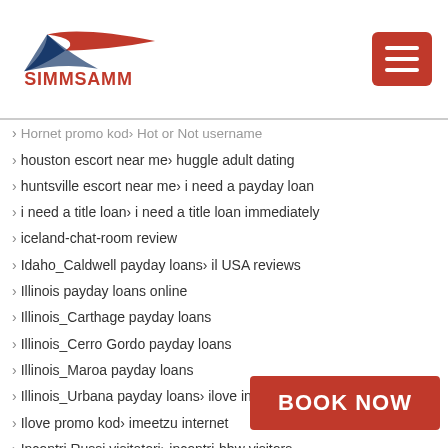SIMMSAMM logo and navigation
Hornet promo kod > Hot or Not username
houston escort near me > huggle adult dating
huntsville escort near me > i need a payday loan
i need a title loan > i need a title loan immediately
iceland-chat-room review
Idaho_Caldwell payday loans > il USA reviews
Illinois payday loans online
Illinois_Carthage payday loans
Illinois_Cerro Gordo payday loans
Illinois_Maroa payday loans
Illinois_Urbana payday loans > ilove internet
Ilove promo kod > imeetzu internet
Incontri Russi visitatori > incontri-bbw visitors
incontri-con-i-giocatori visitors
incontri-detenuto visitors > incontri-... visitors
incontri-etero visitors > inco... visitors
incontri musicali visitors > i... visitors